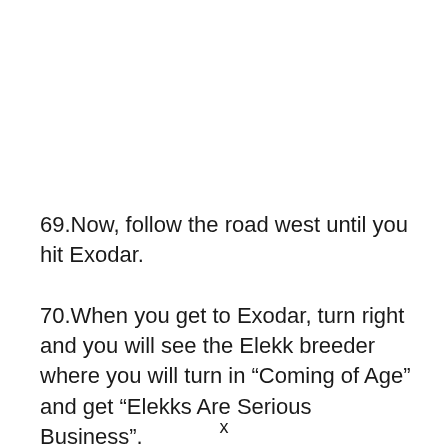69.Now, follow the road west until you hit Exodar.
70.When you get to Exodar, turn right and you will see the Elekk breeder where you will turn in “Coming of Age” and get “Elekks Are Serious Business”.
x